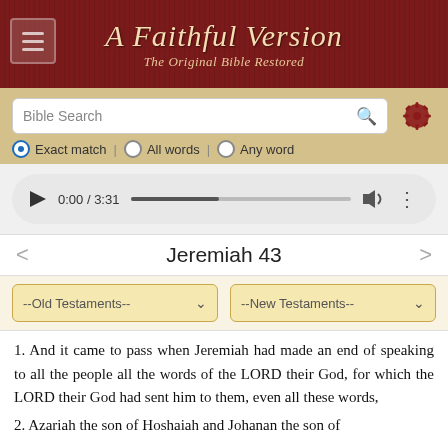A Faithful Version — The Original Bible Restored
[Figure (screenshot): Bible search bar with Exact match, All words, Any word radio buttons]
[Figure (screenshot): Audio player showing 0:00 / 3:31 with play button and progress bar]
Jeremiah 43
[Figure (screenshot): Dropdown selectors for --Old Testaments-- and --New Testaments--]
1. And it came to pass when Jeremiah had made an end of speaking to all the people all the words of the LORD their God, for which the LORD their God had sent him to them, even all these words,
2. Azariah the son of Hoshaiah and Johanan the son of